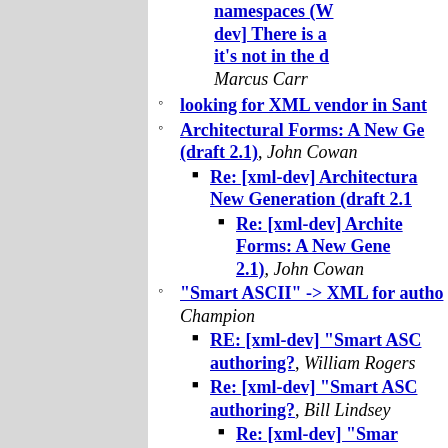namespaces (W dev] There is a it's not in the d Marcus Carr
looking for XML vendor in Sant
Architectural Forms: A New Ge (draft 2.1), John Cowan
Re: [xml-dev] Architectura New Generation (draft 2.1
Re: [xml-dev] Archite Forms: A New Gene 2.1), John Cowan
"Smart ASCII" -> XML for autho Champion
RE: [xml-dev] "Smart ASC authoring?, William Rogers
Re: [xml-dev] "Smart ASC authoring?, Bill Lindsey
Re: [xml-dev] "Smar XML for authoring?, Gupta
Re: [xml-dev] "Smar XML for authoring?,
Re: [xml-dev] " -> XML for auth